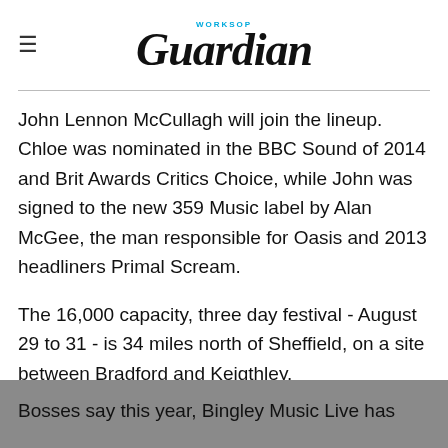WORKSOP Guardian
John Lennon McCullagh will join the lineup. Chloe was nominated in the BBC Sound of 2014 and Brit Awards Critics Choice, while John was signed to the new 359 Music label by Alan McGee, the man responsible for Oasis and 2013 headliners Primal Scream.
The 16,000 capacity, three day festival - August 29 to 31 - is 34 miles north of Sheffield, on a site between Bradford and Keigthley.
Bosses say this year, Bingley Music Live has